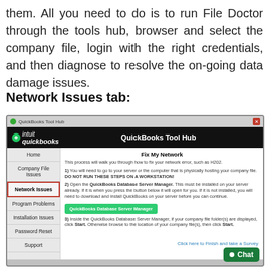them. All you need to do is to run File Doctor through the tools hub, browser and select the company file, login with the right credentials, and then diagnose to resolve the on-going data damage issues.
Network Issues tab:
[Figure (screenshot): Screenshot of QuickBooks Tool Hub application showing the Network Issues tab selected in the left navigation panel and the 'Fix My Network' content on the right, including steps to fix network errors like H202, with options to open QuickBooks Database Server Manager and a green button for it.]